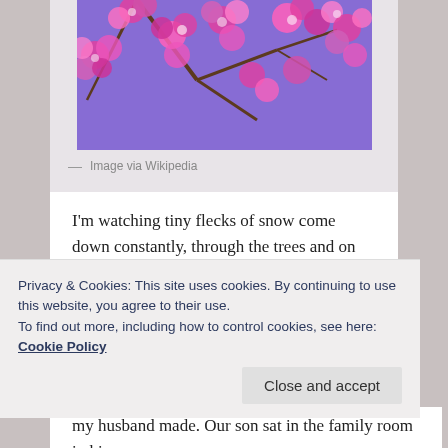[Figure (photo): Cherry blossom flowers in pink and purple against a blue sky, partially visible at top of page]
— Image via Wikipedia
I'm watching tiny flecks of snow come down constantly, through the trees and on the trees like vanilla frosted brownies. It is peaceful with my husband and children home. They have a snow day and they are as excited now as they were when they were eight and ten. I don't think you ever  get over the excitement of a snow day, no matter how old you are or what you do.
Privacy & Cookies: This site uses cookies. By continuing to use this website, you agree to their use.
To find out more, including how to control cookies, see here: Cookie Policy
my husband made. Our son sat in the family room in his